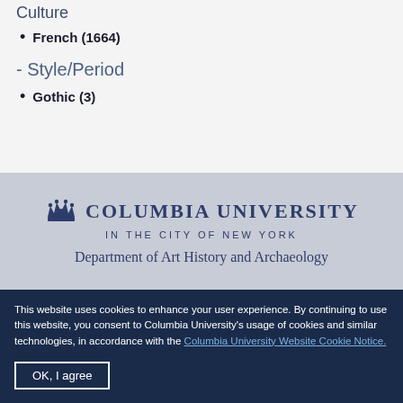Culture
French (1664)
- Style/Period
Gothic (3)
[Figure (logo): Columbia University crown logo with text 'Columbia University in the City of New York']
Department of Art History and Archaeology
This website uses cookies to enhance your user experience. By continuing to use this website, you consent to Columbia University's usage of cookies and similar technologies, in accordance with the Columbia University Website Cookie Notice.
OK, I agree